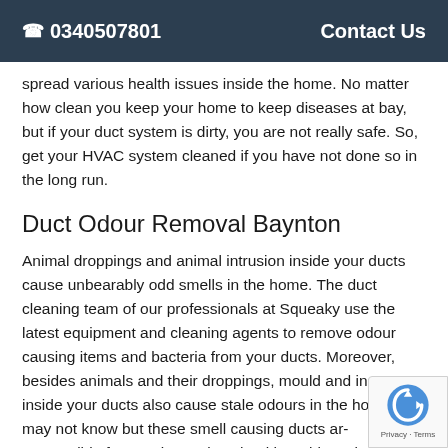☎ 0340507801   Contact Us
spread various health issues inside the home. No matter how clean you keep your home to keep diseases at bay, but if your duct system is dirty, you are not really safe. So, get your HVAC system cleaned if you have not done so in the long run.
Duct Odour Removal Baynton
Animal droppings and animal intrusion inside your ducts cause unbearably odd smells in the home. The duct cleaning team of our professionals at Squeaky use the latest equipment and cleaning agents to remove odour causing items and bacteria from your ducts. Moreover, besides animals and their droppings, mould and insects inside your ducts also cause stale odours in the ho... you may not know but these smell causing ducts ar... responsible for causing various health problems in the...